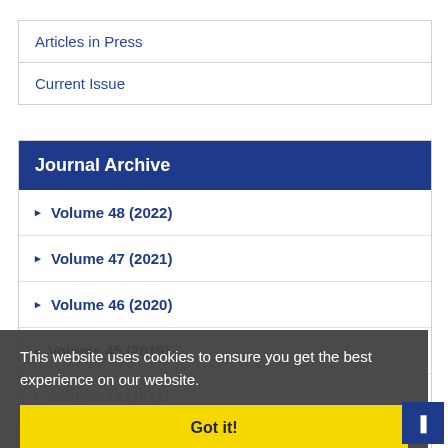Articles in Press
Current Issue
Journal Archive
▶ Volume 48 (2022)
▶ Volume 47 (2021)
▶ Volume 46 (2020)
▶ Volume 45 (2019)
▶ Volume 43 (2017)
▶ Volume 42 (2016)
This website uses cookies to ensure you get the best experience on our website.
Got it!